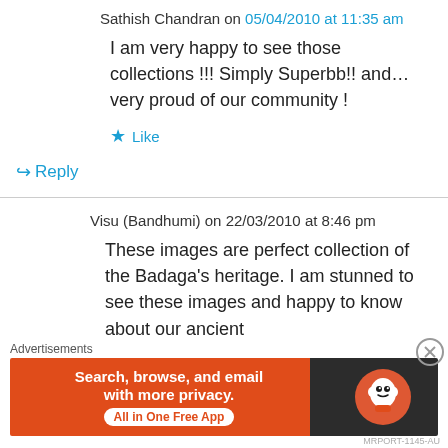Sathish Chandran on 05/04/2010 at 11:35 am
I am very happy to see those collections !!! Simply Superbb!! and… very proud of our community !
★ Like
↪ Reply
Visu (Bandhumi) on 22/03/2010 at 8:46 pm
These images are perfect collection of the Badaga's heritage. I am stunned to see these images and happy to know about our ancient
Advertisements
[Figure (infographic): DuckDuckGo advertisement banner: orange and dark background with text 'Search, browse, and email with more privacy. All in One Free App' and DuckDuckGo logo]